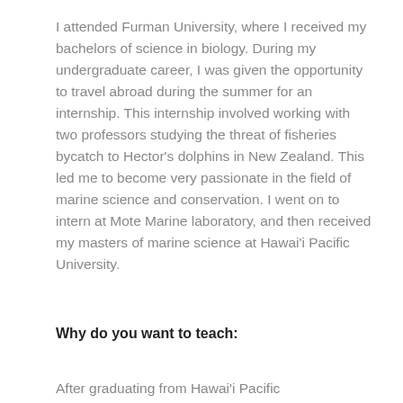I attended Furman University, where I received my bachelors of science in biology. During my undergraduate career, I was given the opportunity to travel abroad during the summer for an internship. This internship involved working with two professors studying the threat of fisheries bycatch to Hector's dolphins in New Zealand. This led me to become very passionate in the field of marine science and conservation. I went on to intern at Mote Marine laboratory, and then received my masters of marine science at Hawai'i Pacific University.
Why do you want to teach:
After graduating from Hawai'i Pacific